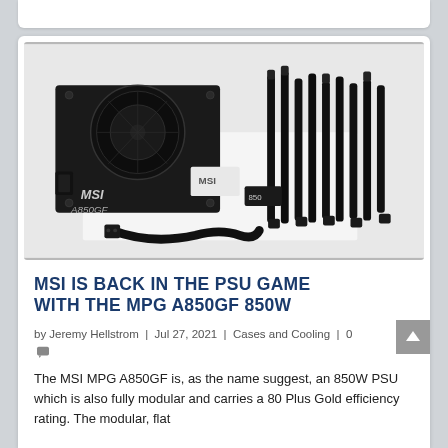[Figure (photo): MSI MPG A850GF 850W power supply unit shown with modular cables, power cord, and documentation on a white background]
MSI IS BACK IN THE PSU GAME WITH THE MPG A850GF 850W
by Jeremy Hellstrom | Jul 27, 2021 | Cases and Cooling | 0
The MSI MPG A850GF is, as the name suggest, an 850W PSU which is also fully modular and carries a 80 Plus Gold efficiency rating. The modular, flat...